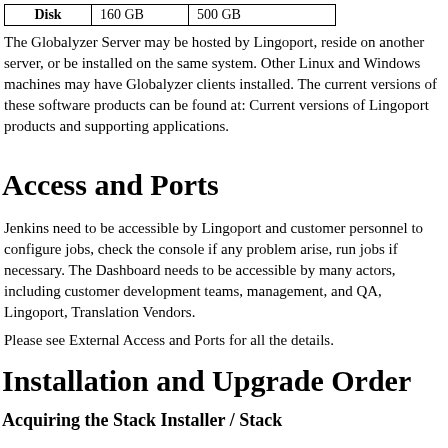|  |  |  |
| --- | --- | --- |
| Disk | 160 GB | 500 GB |
The Globalyzer Server may be hosted by Lingoport, reside on another server, or be installed on the same system. Other Linux and Windows machines may have Globalyzer clients installed. The current versions of these software products can be found at: Current versions of Lingoport products and supporting applications.
Access and Ports
Jenkins need to be accessible by Lingoport and customer personnel to configure jobs, check the console if any problem arise, run jobs if necessary. The Dashboard needs to be accessible by many actors, including customer development teams, management, and QA, Lingoport, Translation Vendors.
Please see External Access and Ports for all the details.
Installation and Upgrade Order
Acquiring the Stack Installer / Stack